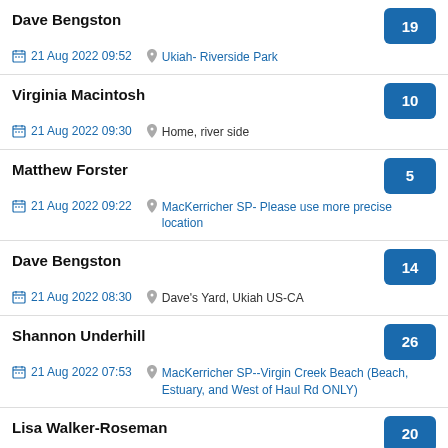Dave Bengston | 19 | 21 Aug 2022 09:52 | Ukiah- Riverside Park
Virginia Macintosh | 10 | 21 Aug 2022 09:30 | Home, river side
Matthew Forster | 5 | 21 Aug 2022 09:22 | MacKerricher SP- Please use more precise location
Dave Bengston | 14 | 21 Aug 2022 08:30 | Dave's Yard, Ukiah US-CA
Shannon Underhill | 26 | 21 Aug 2022 07:53 | MacKerricher SP--Virgin Creek Beach (Beach, Estuary, and West of Haul Rd ONLY)
Lisa Walker-Roseman | 20 | 21 Aug 2022 07:40 | Ten Mile Estuary State Marine Reserve
Chuck Vaughn | 34